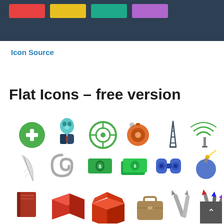[Figure (illustration): Dark navy banner strip at top with four colored rectangular swatches: red, yellow/gold, teal/green, purple]
Icon Source
Flat Icons – free version
[Figure (illustration): Grid of flat icon images: row 1: green plus/medical cross circle, teal alien/person in suit, green target/crosshair, orange-red spinning top/alarm, dark antenna tower, wifi/signal tower with green waves; row 2: white feather, gray paper clip, green dollar bill stack, green money bills, blue binoculars, blue bomb with yellow fuse; row 3: red-brown book, red 3D cube, red open box, brown briefcase/suitcase, two gray pencils/rockets, colorful paint brushes]